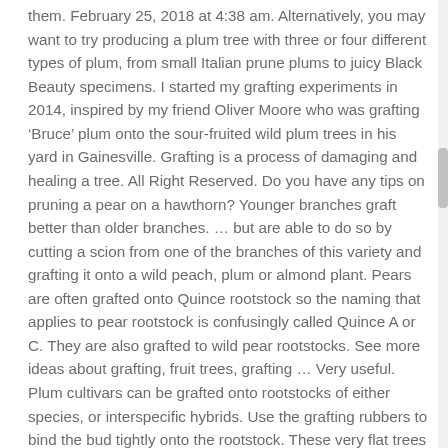them. February 25, 2018 at 4:38 am. Alternatively, you may want to try producing a plum tree with three or four different types of plum, from small Italian prune plums to juicy Black Beauty specimens. I started my grafting experiments in 2014, inspired by my friend Oliver Moore who was grafting ‘Bruce’ plum onto the sour-fruited wild plum trees in his yard in Gainesville. Grafting is a process of damaging and healing a tree. All Right Reserved. Do you have any tips on pruning a pear on a hawthorn? Younger branches graft better than older branches. ... but are able to do so by cutting a scion from one of the branches of this variety and grafting it onto a wild peach, plum or almond plant. Pears are often grafted onto Quince rootstock so the naming that applies to pear rootstock is confusingly called Quince A or C. They are also grafted to wild pear rootstocks. See more ideas about grafting, fruit trees, grafting … Very useful. Plum cultivars can be grafted onto rootstocks of either species, or interspecific hybrids. Use the grafting rubbers to bind the bud tightly onto the rootstock. These very flat trees